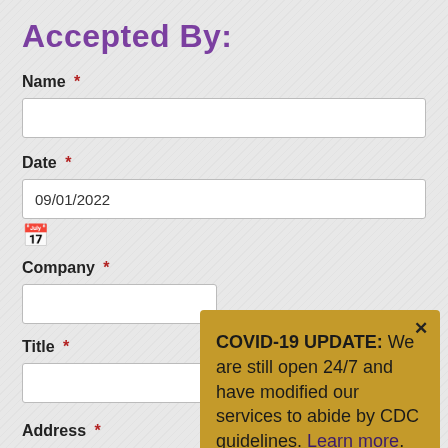Accepted By:
Name *
Date *
09/01/2022
Company *
Title *
COVID-19 UPDATE: We are still open 24/7 and have modified our services to abide by CDC guidelines. Learn more.
Address *